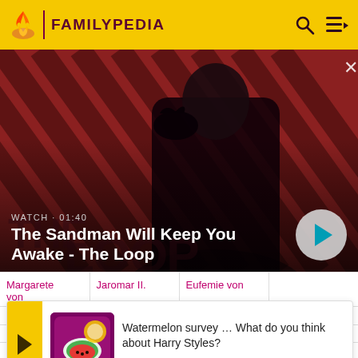FAMILYPEDIA
[Figure (screenshot): Hero banner for 'The Sandman Will Keep You Awake - The Loop' video, showing a dark figure with a raven against a red-striped background. Overlaid with WATCH · 01:40 label and a play button.]
WATCH · 01:40
The Sandman Will Keep You Awake - The Loop
| Margarete von | Jaromar II. | Eufemie von |  |
| --- | --- | --- | --- |
| Margarete von (c1... | Jaromar II. | Eufemie von |  |
| Gott... |  |  |  |
[Figure (infographic): Advertisement popup: 'Watermelon survey … What do you think about Harry Styles? TAKE THE SURVEY HERE' with a colorful survey image and yellow arrow button.]
Watermelon survey … What do you think about Harry Styles?
TAKE THE SURVEY HERE